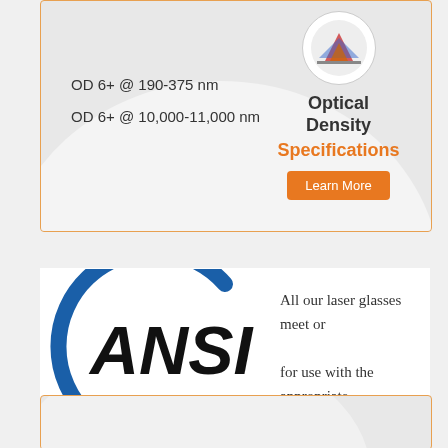[Figure (infographic): Optical Density Specifications card with OD values, icon circle with laser image, and Learn More button]
OD 6+ @ 190-375 nm
OD 6+ @ 10,000-11,000 nm
Optical Density Specifications
[Figure (logo): ANSI logo - blue arc around bold black ANSI text]
All our laser glasses meet or for use with the appropriate